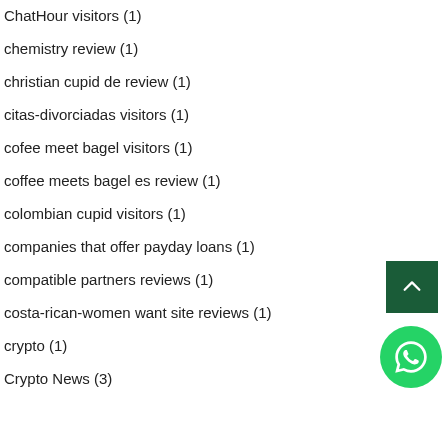ChatHour visitors (1)
chemistry review (1)
christian cupid de review (1)
citas-divorciadas visitors (1)
cofee meet bagel visitors (1)
coffee meets bagel es review (1)
colombian cupid visitors (1)
companies that offer payday loans (1)
compatible partners reviews (1)
costa-rican-women want site reviews (1)
crypto (1)
Crypto News (3)